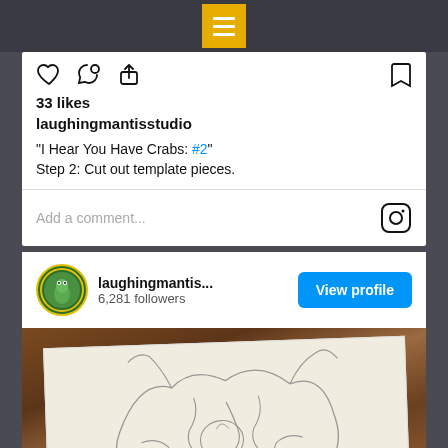[Figure (screenshot): Instagram app top navigation bar with yellow menu/hamburger icon button on dark grey background]
[Figure (screenshot): Instagram post interaction icons: heart (like), speech bubble (comment), share arrow on left; bookmark on right]
33 likes
laughingmantisstudio
“I Hear You Have Crabs: #2”
Step 2: Cut out template pieces.
Add a comment...
[Figure (screenshot): Instagram camera icon on right side of comment bar]
[Figure (screenshot): Profile row: laughingmantis... avatar with green mantis logo, 6,281 followers, blue View profile button]
[Figure (photo): Photo of a white paper with pencil-drawn crab template outline pieces on a background of shells and natural objects]